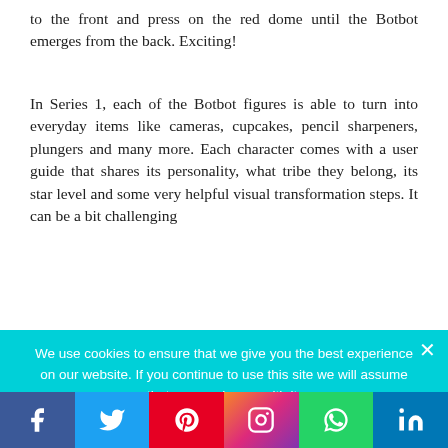to the front and press on the red dome until the Botbot emerges from the back. Exciting!
In Series 1, each of the Botbot figures is able to turn into everyday items like cameras, cupcakes, pencil sharpeners, plungers and many more. Each character comes with a user guide that shares its personality, what tribe they belong, its star level and some very helpful visual transformation steps. It can be a bit challenging
We use cookies to ensure that we give you the best experience on our website. If you continue to use this site we will assume that you are happy with it.
f  Twitter  Pinterest  Instagram  WhatsApp  in